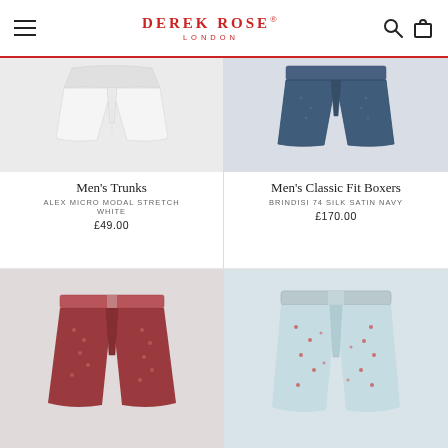DEREK ROSE® LONDON
[Figure (photo): Men's white trunks on light grey background, top cropped view]
[Figure (photo): Men's navy blue silk satin boxers on light grey background, top cropped view]
Men's Trunks
ALEX MICRO MODAL STRETCH WHITE
£49.00
Men's Classic Fit Boxers
BRINDISI 74 SILK SATIN NAVY
£170.00
[Figure (photo): Men's red patterned classic fit boxers on light grey background]
[Figure (photo): Men's light blue boxers with small red pattern on light grey background]